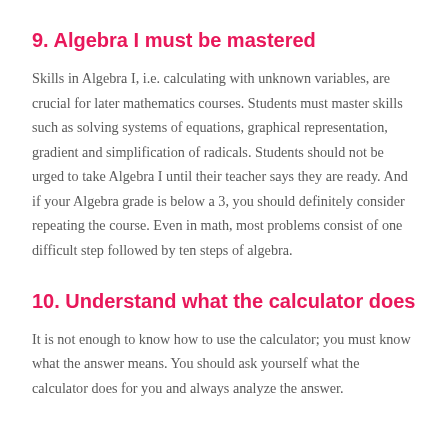9. Algebra I must be mastered
Skills in Algebra I, i.e. calculating with unknown variables, are crucial for later mathematics courses. Students must master skills such as solving systems of equations, graphical representation, gradient and simplification of radicals. Students should not be urged to take Algebra I until their teacher says they are ready. And if your Algebra grade is below a 3, you should definitely consider repeating the course. Even in math, most problems consist of one difficult step followed by ten steps of algebra.
10. Understand what the calculator does
It is not enough to know how to use the calculator; you must know what the answer means. You should ask yourself what the calculator does for you and always analyze the answer.